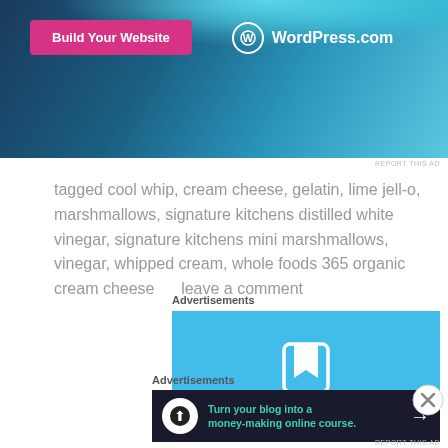[Figure (screenshot): WordPress.com advertisement banner with dark blue/teal gradient background, pink 'Build Your Website' button and WordPress.com logo in white]
REPORT THIS AD
tagged cool whip, cream cheese, gelatin, lime jell-o, marshmallows, signature kitchens distilled white vinegar, signature kitchens mini marshmallows, vinegar, whipped cream, whole foods 365 organic cream cheese      leave a comment
Advertisements
[Figure (screenshot): Advertisement banner with light blue background showing a bookmark icon]
Advertisements
[Figure (screenshot): Dark advertisement banner: 'Turn your blog into a money-making online course.' with teal text and arrow, circular icon on left]